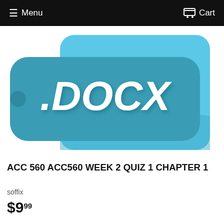≡ Menu   🛒 Cart
[Figure (illustration): A teal/cyan rounded rectangle tag shape with '.DOCX' in large white bold italic text, overlapping a lighter blue square shape, on a white background. The image represents a DOCX file format icon.]
ACC 560 ACC560 WEEK 2 QUIZ 1 CHAPTER 1
soffix
$9.99